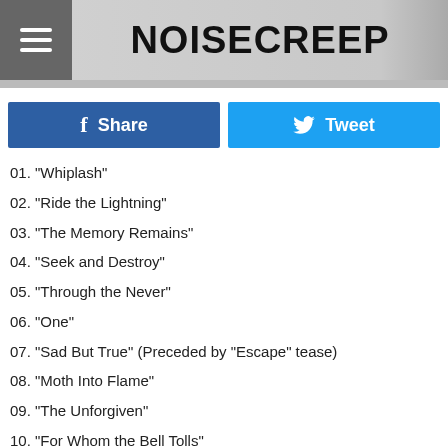NOISECREEP
01. "Whiplash"
02. "Ride the Lightning"
03. "The Memory Remains"
04. "Seek and Destroy"
05. "Through the Never"
06. "One"
07. "Sad But True" (Preceded by "Escape" tease)
08. "Moth Into Flame"
09. "The Unforgiven"
10. "For Whom the Bell Tolls"
11. "Creeping Death"
12. "No Leaf Clover"